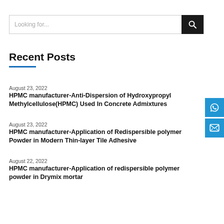[Figure (other): Search bar with 'Looking for...' placeholder text and a dark search button with magnifying glass icon]
Recent Posts
August 23, 2022
HPMC manufacturer-Anti-Dispersion of Hydroxypropyl Methylcellulose(HPMC) Used In Concrete Admixtures
August 23, 2022
HPMC manufacturer-Application of Redispersible polymer Powder in Modern Thin-layer Tile Adhesive
August 22, 2022
HPMC manufacturer-Application of redispersible polymer powder in Drymix mortar